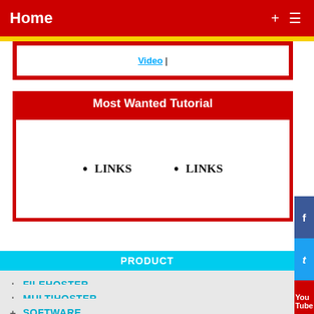Home
Video |
Most Wanted Tutorial
LINKS
LINKS
PRODUCT
+ FILEHOSTER
+ MULTIHOSTER
+ SOFTWARE
+ VPN